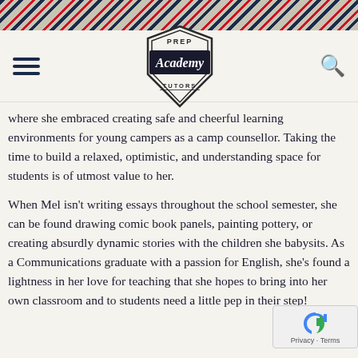[Figure (illustration): Diagonal red and navy stripe decorative header band]
[Figure (logo): Prep Academy Tutors shield/badge logo with 'PREP' at top, 'Academy' in script on dark banner, and 'TUTORS' at bottom. Hamburger menu icon on left, search icon on right.]
where she embraced creating safe and cheerful learning environments for young campers as a camp counsellor. Taking the time to build a relaxed, optimistic, and understanding space for students is of utmost value to her.
When Mel isn't writing essays throughout the school semester, she can be found drawing comic book panels, painting pottery, or creating absurdly dynamic stories with the children she babysits. As a Communications graduate with a passion for English, she's found a lightness in her love for teaching that she hopes to bring into her own classroom and to students need a little pep in their step!
[Figure (other): reCAPTCHA widget with Privacy - Terms text]